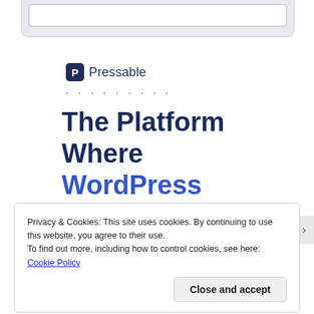[Figure (screenshot): Top portion of a web browser page card showing a white content area with light blue-gray background, partially cropped at top]
P Pressable
·········
The Platform Where WordPress Works Best
Privacy & Cookies: This site uses cookies. By continuing to use this website, you agree to their use.
To find out more, including how to control cookies, see here: Cookie Policy
Close and accept